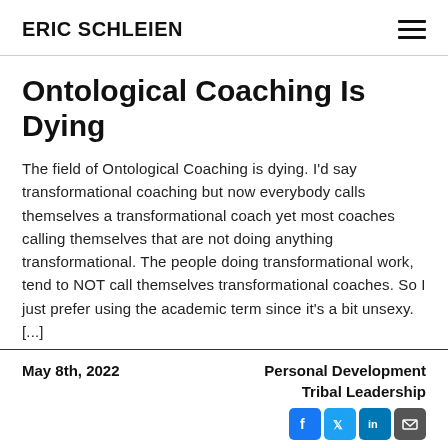ERIC SCHLEIEN
Ontological Coaching Is Dying
The field of Ontological Coaching is dying. I'd say transformational coaching but now everybody calls themselves a transformational coach yet most coaches calling themselves that are not doing anything transformational. The people doing transformational work, tend to NOT call themselves transformational coaches. So I just prefer using the academic term since it's a bit unsexy. [...]
May 8th, 2022  Personal Development  Tribal Leadership